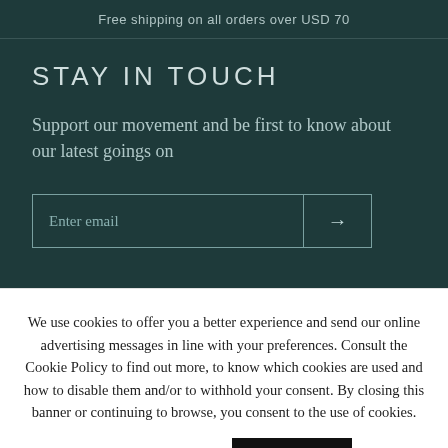Free shipping on all orders over USD 70
STAY IN TOUCH
Support our movement and be first to know about our latest goings on
Enter email →
We use cookies to offer you a better experience and send our online advertising messages in line with your preferences. Consult the Cookie Policy to find out more, to know which cookies are used and how to disable them and/or to withhold your consent. By closing this banner or continuing to browse, you consent to the use of cookies.
Cookie settings   ACCEPT